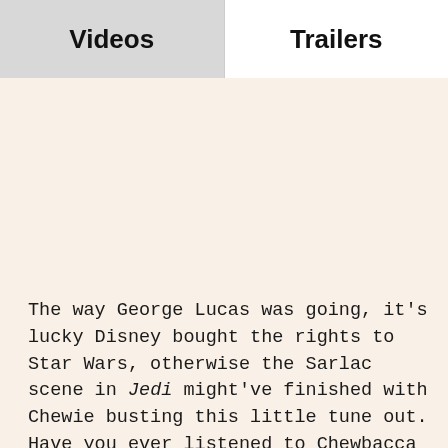Videos	Trailers
The way George Lucas was going, it's lucky Disney bought the rights to Star Wars, otherwise the Sarlac scene in Jedi might've finished with Chewie busting this little tune out. Have you ever listened to Chewbacca roaring and thought, 'I could make an absolute banger out of that.'? If your answer to that question is yes then you're probably in the minority. But you're not